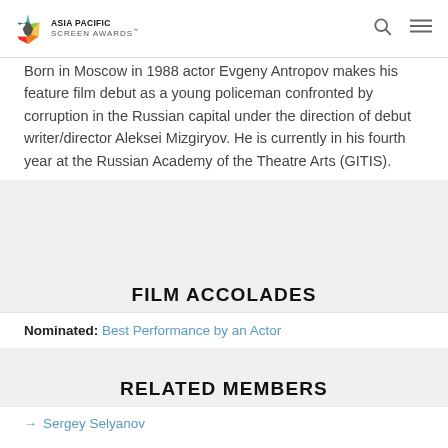Asia Pacific Screen Awards
Born in Moscow in 1988 actor Evgeny Antropov makes his feature film debut as a young policeman confronted by corruption in the Russian capital under the direction of debut writer/director Aleksei Mizgiryov. He is currently in his fourth year at the Russian Academy of the Theatre Arts (GITIS).
FILM ACCOLADES
Nominated: Best Performance by an Actor
RELATED MEMBERS
Sergey Selyanov
Evgeniy Antropov